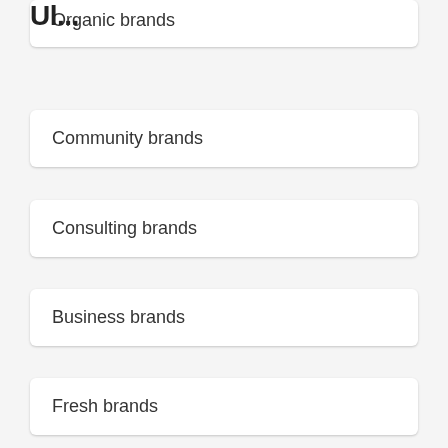Organic brands
Community brands
Consulting brands
Business brands
Fresh brands
Animal brands
Ul...